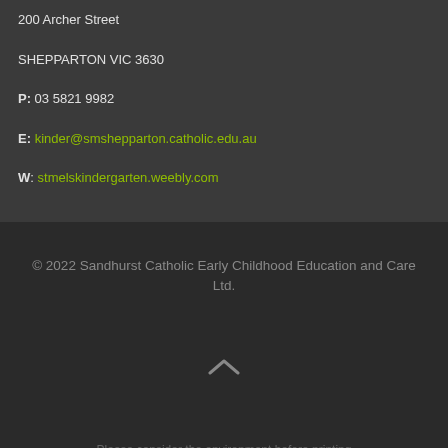200 Archer Street
SHEPPARTON VIC 3630
P: 03 5821 9982
E: kinder@smshepparton.catholic.edu.au
W: stmelskindergarten.weebly.com
© 2022 Sandhurst Catholic Early Childhood Education and Care Ltd.
Please consider the environment before printing resources from this website